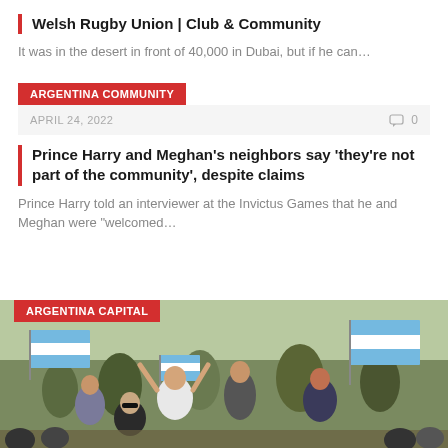Welsh Rugby Union | Club & Community
It was in the desert in front of 40,000 in Dubai, but if he can…
ARGENTINA COMMUNITY
APRIL 24, 2022   💬 0
Prince Harry and Meghan's neighbors say 'they're not part of the community', despite claims
Prince Harry told an interviewer at the Invictus Games that he and Meghan were "welcomed…
[Figure (photo): Crowd of people at an outdoor rally waving light blue and white Argentine flags. Several people visible including a woman in a white shirt with arms raised, others with flags in the background.]